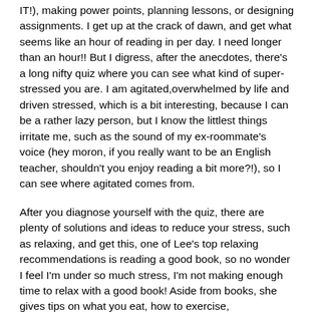IT!), making power points, planning lessons, or designing assignments. I get up at the crack of dawn, and get what seems like an hour of reading in per day. I need longer than an hour!! But I digress, after the anecdotes, there's a long nifty quiz where you can see what kind of super-stressed you are. I am agitated,overwhelmed by life and driven stressed, which is a bit interesting, because I can be a rather lazy person, but I know the littlest things irritate me, such as the sound of my ex-roommate's voice (hey moron, if you really want to be an English teacher, shouldn't you enjoy reading a bit more?!), so I can see where agitated comes from.
After you diagnose yourself with the quiz, there are plenty of solutions and ideas to reduce your stress, such as relaxing, and get this, one of Lee's top relaxing recommendations is reading a good book, so no wonder I feel I'm under so much stress, I'm not making enough time to relax with a good book! Aside from books, she gives tips on what you eat, how to exercise, aromatherapy, and journaling activities. At the very end is a four-week plan tailored to your type of super stress. I'm too